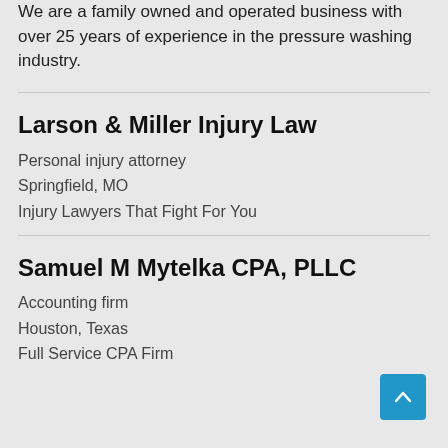We are a family owned and operated business with over 25 years of experience in the pressure washing industry.
Larson & Miller Injury Law
Personal injury attorney
Springfield, MO
Injury Lawyers That Fight For You
Samuel M Mytelka CPA, PLLC
Accounting firm
Houston, Texas
Full Service CPA Firm